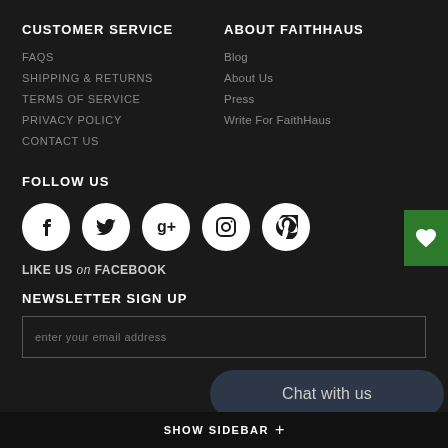CUSTOMER SERVICE
FAQs
SHIPPING & RETURNS
TERMS OF SERVICE
PRIVACY POLICY
CONTACT US
ABOUT FAITHHAUS
Blog
About Us
Press
Write For FaithHaus
FOLLOW US
[Figure (illustration): Social media icons: Facebook, Twitter, Google+, Instagram, Pinterest]
LIKE US on FACEBOOK
NEWSLETTER SIGN UP
enter your email address
Chat with us
SHOW SIDEBAR +